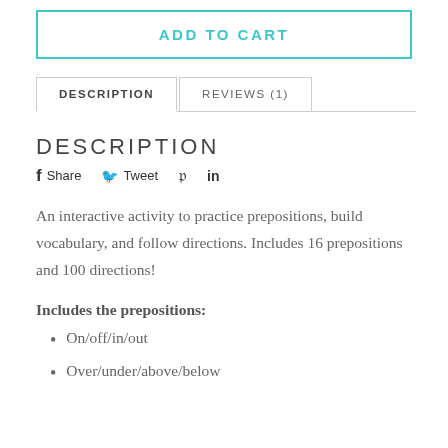ADD TO CART
DESCRIPTION
DESCRIPTION
Share  Tweet  (Pinterest)  in
An interactive activity to practice prepositions, build vocabulary, and follow directions. Includes 16 prepositions and 100 directions!
Includes the prepositions:
On/off/in/out
Over/under/above/below